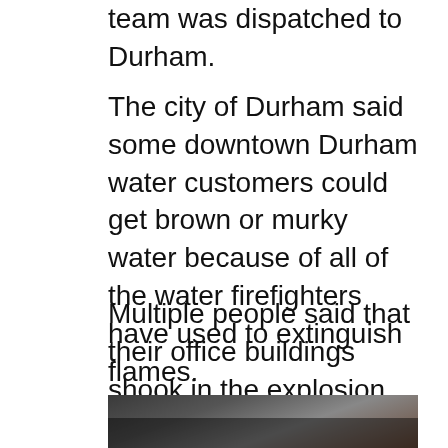team was dispatched to Durham.
The city of Durham said some downtown Durham water customers could get brown or murky water because of all of the water firefighters have used to extinguish flames.
Multiple people said that their office buildings shook in the explosion, and windows had been blown out.
[Figure (photo): Dark photograph showing aftermath of explosion or fire scene, partially cropped at bottom of page]